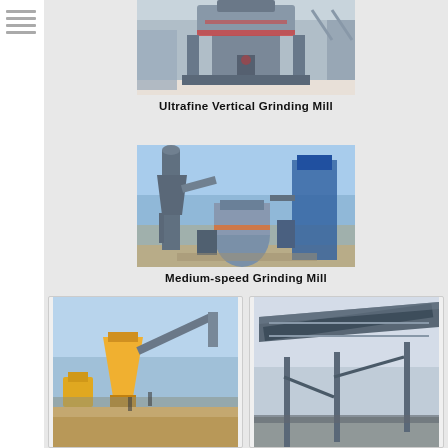[Figure (photo): Ultrafine Vertical Grinding Mill industrial equipment photographed in a factory/warehouse setting. Large grey vertical mill machine with multiple tiers.]
Ultrafine Vertical Grinding Mill
[Figure (photo): Medium-speed Grinding Mill industrial plant equipment photographed outdoors with blue sky background. Multiple towers, pipes, and a large vessel visible.]
Medium-speed Grinding Mill
[Figure (photo): Cone crusher and conveyor equipment photographed outdoors on a mining/quarry site with yellow crusher and conveyor belt.]
[Figure (photo): Conveyor belt structure photographed outdoors at a mining/quarry site showing large elevated conveyor structure.]